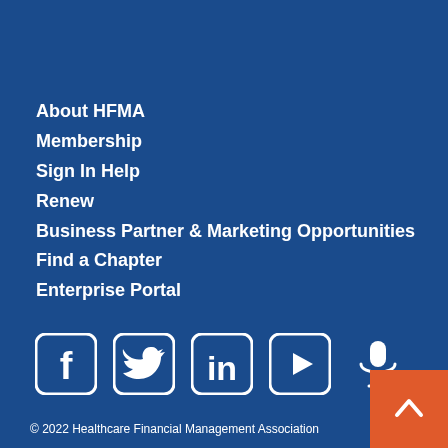About HFMA
Membership
Sign In Help
Renew
Business Partner & Marketing Opportunities
Find a Chapter
Enterprise Portal
[Figure (infographic): Social media icons row: Facebook, Twitter, LinkedIn, YouTube, Microphone/Podcast]
[Figure (infographic): Back to top button - orange square with upward caret arrow]
© 2022 Healthcare Financial Management Association